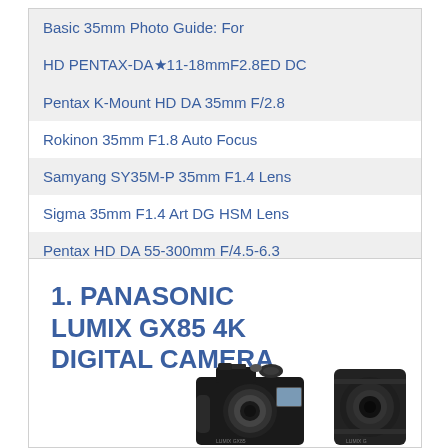Basic 35mm Photo Guide: For
HD PENTAX-DA★11-18mmF2.8ED DC
Pentax K-Mount HD DA 35mm F/2.8
Rokinon 35mm F1.8 Auto Focus
Samyang SY35M-P 35mm F1.4 Lens
Sigma 35mm F1.4 Art DG HSM Lens
Pentax HD DA 55-300mm F/4.5-6.3
1. PANASONIC LUMIX GX85 4K DIGITAL CAMERA
[Figure (photo): Panasonic Lumix GX85 4K Digital Camera product photo showing camera body with lens]